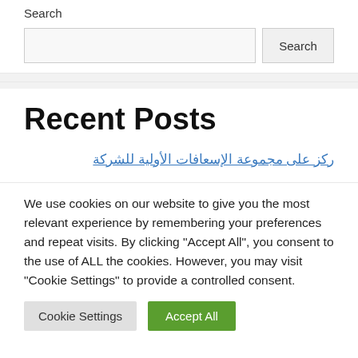Search
[Figure (screenshot): Search input box and Search button]
Recent Posts
ركز على مجموعة الإسعافات الأولية للشركة
We use cookies on our website to give you the most relevant experience by remembering your preferences and repeat visits. By clicking "Accept All", you consent to the use of ALL the cookies. However, you may visit "Cookie Settings" to provide a controlled consent.
Cookie Settings | Accept All